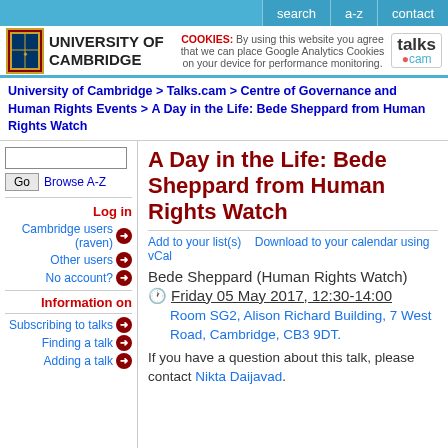search  a-z  contact
[Figure (logo): University of Cambridge logo with crest and text, talks.cam logo, and cookie notice]
University of Cambridge > Talks.cam > Centre of Governance and Human Rights Events > A Day in the Life: Bede Sheppard from Human Rights Watch
Log in
Cambridge users (raven)
Other users
No account?
Information on
Subscribing to talks
Finding a talk
Adding a talk
A Day in the Life: Bede Sheppard from Human Rights Watch
Add to your list(s)    Download to your calendar using vCal
Bede Sheppard (Human Rights Watch)
Friday 05 May 2017, 12:30-14:00
Room SG2, Alison Richard Building, 7 West Road, Cambridge, CB3 9DT.
If you have a question about this talk, please contact Nikta Daijavad.